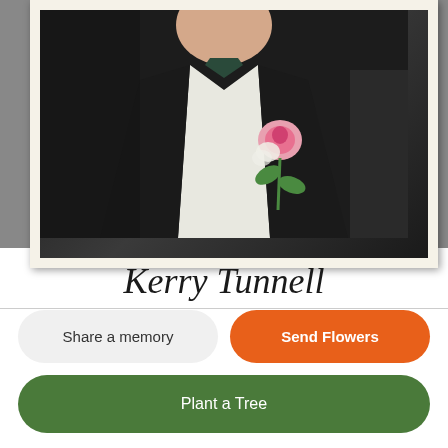[Figure (photo): Portrait photo of Kerry Tunnell in a black tuxedo with a pink boutonniere, in a white/cream frame against a dark background. The image is cropped to show the upper body.]
Kerry Tunnell
Share a memory
Send Flowers
Plant a Tree